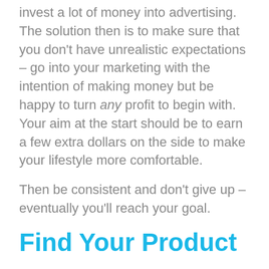invest a lot of money into advertising. The solution then is to make sure that you don't have unrealistic expectations – go into your marketing with the intention of making money but be happy to turn any profit to begin with. Your aim at the start should be to earn a few extra dollars on the side to make your lifestyle more comfortable.
Then be consistent and don't give up – eventually you'll reach your goal.
Find Your Product
The next step is finding your product.